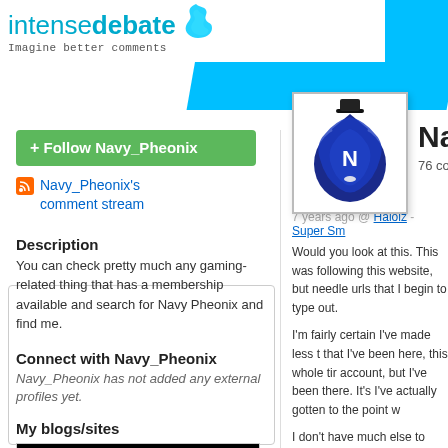intensedebate — Imagine better comments
+ Follow Navy_Pheonix
Navy_Pheonix's comment stream
Description
You can check pretty much any gaming-related thing that has a membership available and search for Navy Pheonix and find me.
Connect with Navy_Pheonix
Navy_Pheonix has not added any external profiles yet.
My blogs/sites
[Figure (photo): Black rectangle representing a blog/site thumbnail]
[Figure (illustration): Navy_Pheonix avatar: blue crest with top hat figure]
Navy_Phe
76 comments posted
7 years ago @ Halolz - Super Sm
Would you look at this. This was following this website, but needle urls that I begin to type out.

I'm fairly certain I've made less t that I've been here, this whole tir account, but I've been there. It's I've actually gotten to the point w

I don't have much else to say. I'm me now, and that I'll always appr